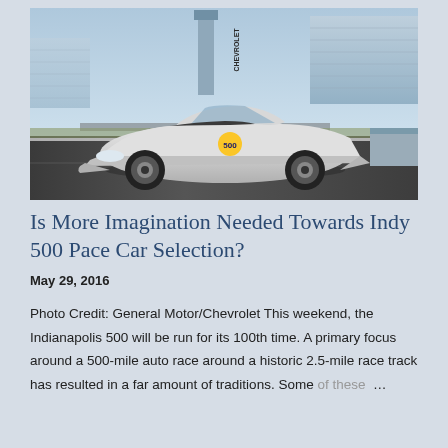[Figure (photo): A white Chevrolet Camaro pace car with Indy 500 branding driving on the Indianapolis Motor Speedway track, with grandstands and a Chevrolet sign visible in the background.]
Is More Imagination Needed Towards Indy 500 Pace Car Selection?
May 29, 2016
Photo Credit: General Motor/Chevrolet This weekend, the Indianapolis 500 will be run for its 100th time. A primary focus around a 500-mile auto race around a historic 2.5-mile race track has resulted in a far amount of traditions. Some of these ...